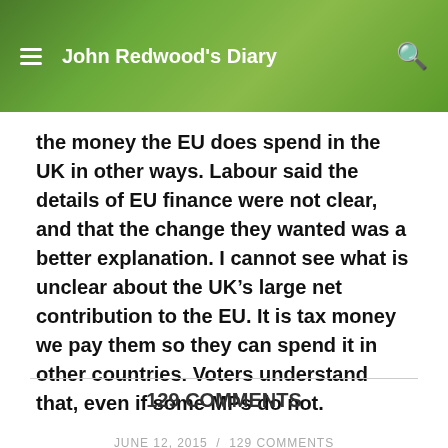John Redwood's Diary
the money the EU does spend in the UK in other ways. Labour said the details of EU finance were not clear, and that the change they wanted was a better explanation. I cannot see what is unclear about the UK’s large net contribution to the EU. It is tax money we pay them so they can spend it in other countries. Voters understand that, even if some MPs do not.
JUNE 12, 2015 / 129 COMMENTS
129 COMMENTS